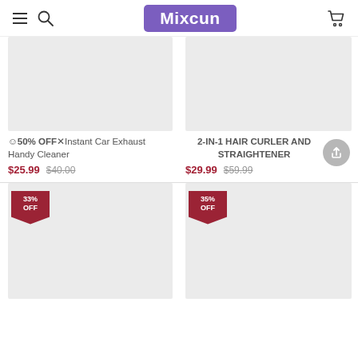[Figure (screenshot): Mixcun e-commerce website header with hamburger menu, search icon, Mixcun logo in purple, and cart icon]
[Figure (photo): Product image placeholder (gray) for Instant Car Exhaust Handy Cleaner]
☺50% OFF✕Instant Car Exhaust Handy Cleaner
$25.99  $40.00
[Figure (photo): Product image placeholder (gray) for 2-IN-1 Hair Curler and Straightener]
2-IN-1 HAIR CURLER AND STRAIGHTENER
$29.99  $59.99
[Figure (photo): Product image placeholder (gray) with 33% OFF badge]
[Figure (photo): Product image placeholder (gray) with 35% OFF badge]